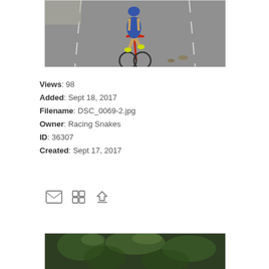[Figure (photo): Cyclist (triathlete) riding a red road bike on asphalt, partial view showing legs and lower body, viewed from front angle.]
Views: 98
Added: Sept 18, 2017
Filename: DSC_0069-2.jpg
Owner: Racing Snakes
ID: 36307
Created: Sept 17, 2017
[Figure (photo): Partial view of a second photo at the bottom of the page, showing green foliage/nature scene.]